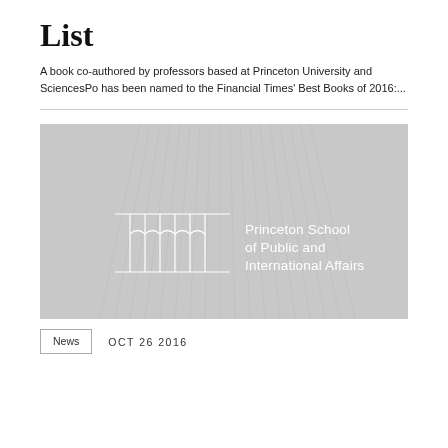List
A book co-authored by professors based at Princeton University and SciencesPo has been named to the Financial Times' Best Books of 2016:...
[Figure (logo): Princeton School of Public and International Affairs logo on a grey background with architectural column motif]
News   OCT 26 2016